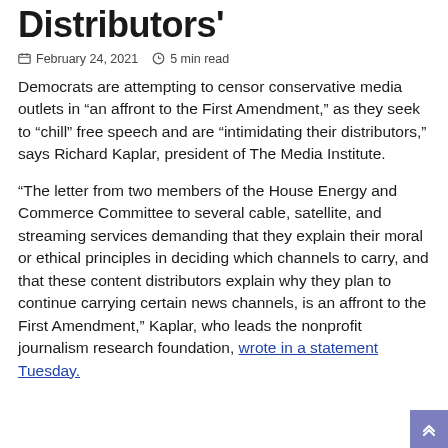Distributors'
February 24, 2021   5 min read
Democrats are attempting to censor conservative media outlets in “an affront to the First Amendment,” as they seek to “chill” free speech and are “intimidating their distributors,” says Richard Kaplar, president of The Media Institute.
“The letter from two members of the House Energy and Commerce Committee to several cable, satellite, and streaming services demanding that they explain their moral or ethical principles in deciding which channels to carry, and that these content distributors explain why they plan to continue carrying certain news channels, is an affront to the First Amendment,” Kaplar, who leads the nonprofit journalism research foundation, wrote in a statement Tuesday.